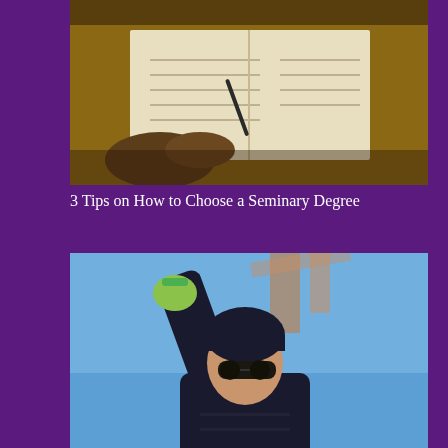[Figure (photo): Hands writing notes next to an open Bible on a wooden desk]
3 Tips on How to Choose a Seminary Degree
[Figure (photo): A man in a dark jacket and beanie with sunglasses pointing upward against a blue sky with wooden structure behind]
Famous (and Vocal) Christian Athletes
[Figure (photo): A young man sitting in a chair reading a book indoors]